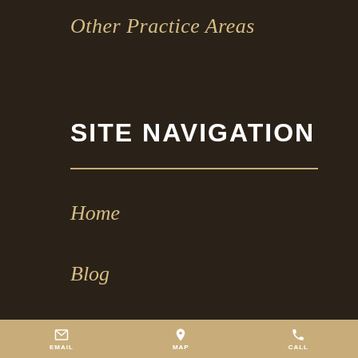Other Practice Areas
SITE NAVIGATION
Home
Blog
EMAIL   MAP   CALL